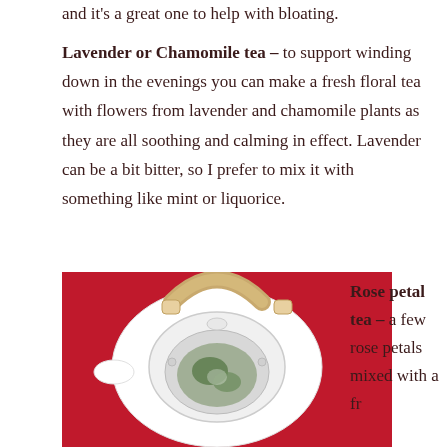and it's a great one to help with bloating.
Lavender or Chamomile tea – to support winding down in the evenings you can make a fresh floral tea with flowers from lavender and chamomile plants as they are all soothing and calming in effect. Lavender can be a bit bitter, so I prefer to mix it with something like mint or liquorice.
[Figure (photo): Overhead view of a white ceramic teapot with a wooden handle on a red background, containing green leaves and flowers]
Rose petal tea – a few rose petals mixed with a fr